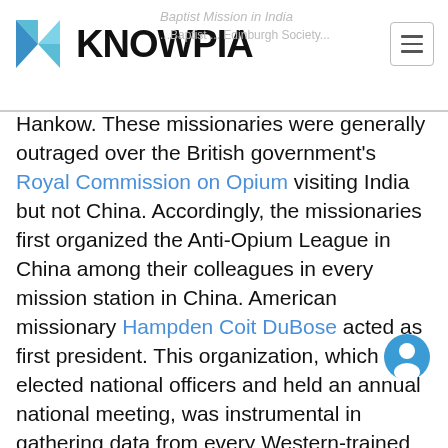KNOWPIA
Hankow. These missionaries were generally outraged over the British government's Royal Commission on Opium visiting India but not China. Accordingly, the missionaries first organized the Anti-Opium League in China among their colleagues in every mission station in China. American missionary Hampden Coit DuBose acted as first president. This organization, which had elected national officers and held an annual national meeting, was instrumental in gathering data from every Western-trained medical doctor in China, which was then published as William Hector Park compiled Opinions of Over 100 Physicians on the Use of Opium in China (Shang' American Presbyterian Mission Press, 1899). The vast majority of these medical doctors were missionaries;